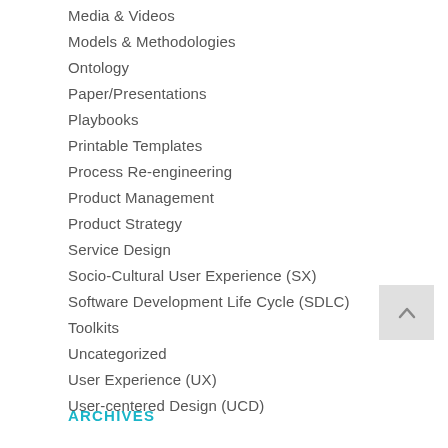Media & Videos
Models & Methodologies
Ontology
Paper/Presentations
Playbooks
Printable Templates
Process Re-engineering
Product Management
Product Strategy
Service Design
Socio-Cultural User Experience (SX)
Software Development Life Cycle (SDLC)
Toolkits
Uncategorized
User Experience (UX)
User-centered Design (UCD)
ARCHIVES